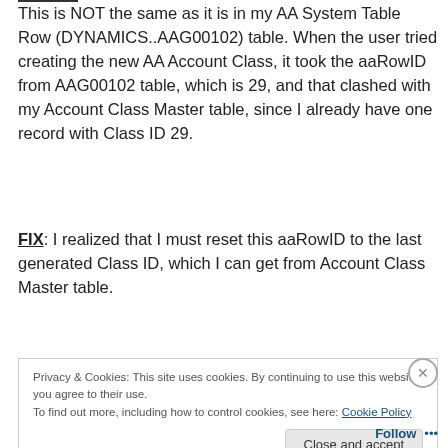This is NOT the same as it is in my AA System Table Row (DYNAMICS..AAG00102) table. When the user tried creating the new AA Account Class, it took the aaRowID from AAG00102 table, which is 29, and that clashed with my Account Class Master table, since I already have one record with Class ID 29.
FIX: I realized that I must reset this aaRowID to the last generated Class ID, which I can get from Account Class Master table.
Privacy & Cookies: This site uses cookies. By continuing to use this website, you agree to their use.
To find out more, including how to control cookies, see here: Cookie Policy